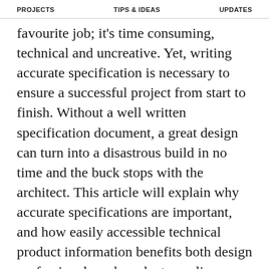PROJECTS   TIPS & IDEAS   UPDATES
favourite job; it's time consuming, technical and uncreative. Yet, writing accurate specification is necessary to ensure a successful project from start to finish. Without a well written specification document, a great design can turn into a disastrous build in no time and the buck stops with the architect. This article will explain why accurate specifications are important, and how easily accessible technical product information benefits both design professionals and product suppliers.
Why specification matters